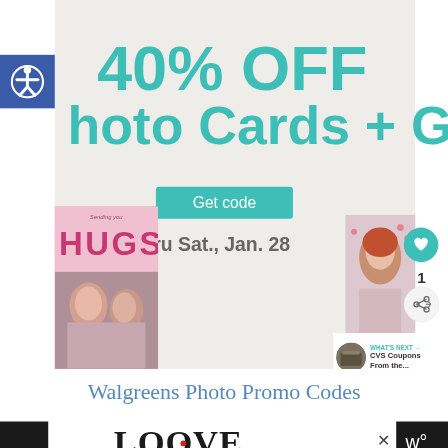[Figure (screenshot): Walgreens website screenshot showing a promotional banner: '40% OFF Photo Cards + G...' with a teal 'Get code' button, 'thru Sat., Jan. 28', photo card images of children, a heart/like icon with count of 1, a share icon, and a 'WHAT'S NEXT → CVS Coupons From the...' panel]
Walgreens Photo Promo Codes
[Figure (illustration): Decorative 'LOOVE' text in ornate black lettering style, advertisement banner with X close button]
[Figure (logo): White 'w°' logo on black background (bottom right)]